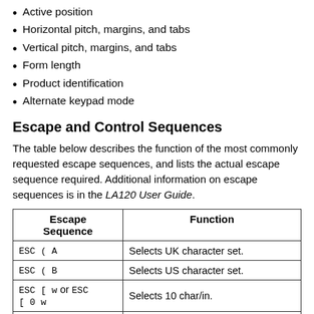Active position
Horizontal pitch, margins, and tabs
Vertical pitch, margins, and tabs
Form length
Product identification
Alternate keypad mode
Escape and Control Sequences
The table below describes the function of the most commonly requested escape sequences, and lists the actual escape sequence required. Additional information on escape sequences is in the LA120 User Guide.
| Escape Sequence | Function |
| --- | --- |
| ESC ( A | Selects UK character set. |
| ESC ( B | Selects US character set. |
| ESC [ w or ESC [ 0 w | Selects 10 char/in. |
| ESC [ 1 w | Selects 10 char/in. |
| ESC [ 2 w | Selects 12 char/in. |